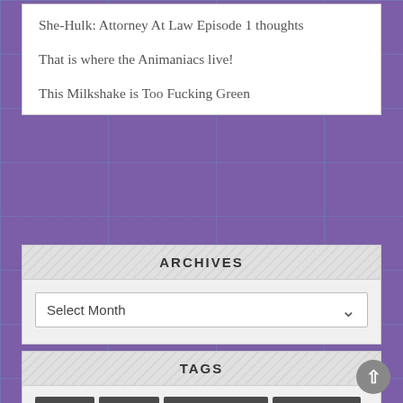She-Hulk: Attorney At Law Episode 1 thoughts
That is where the Animaniacs live!
This Milkshake is Too Fucking Green
ARCHIVES
Select Month
TAGS
BATMAN
CAPCOM
CAPTAIN MARVEL
CUSTOM TOYS
DARIAAN NIGHTHAWK
DC COMICS
FAN ART
FANTASY ART
FIRE RAVEN
GHOSTBUSTERS
GI JOE
HAWK & CROC'S SCHOOL DAZE
HAWK & CROC CLASSIC
HAWK AND CROC
HAWK AND CROC APOCRYPHA
HEROES OF CYBERTRON
IMAGE COMICS
INKTOBER
MAIL CALL
MARVEL COMICS
MARVEL LEGENDS
MAXIMUM POWER PRO WRESTLING
MEMORIES
MISC
MORTAL KOMBAT
MY COMICS
NINTENDO